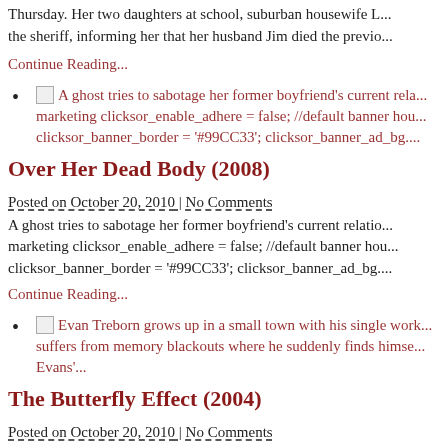Thursday. Her two daughters at school, suburban housewife L... the sheriff, informing her that her husband Jim died the previo...
Continue Reading...
A ghost tries to sabotage her former boyfriend's current rela... marketing clicksor_enable_adhere = false; //default banner hou... clicksor_banner_border = '#99CC33'; clicksor_banner_ad_bg....
Over Her Dead Body (2008)
Posted on October 20, 2010 | No Comments
A ghost tries to sabotage her former boyfriend's current relatio... marketing clicksor_enable_adhere = false; //default banner hou... clicksor_banner_border = '#99CC33'; clicksor_banner_ad_bg....
Continue Reading...
Evan Treborn grows up in a small town with his single work... suffers from memory blackouts where he suddenly finds himse... Evans'...
The Butterfly Effect (2004)
Posted on October 20, 2010 | No Comments